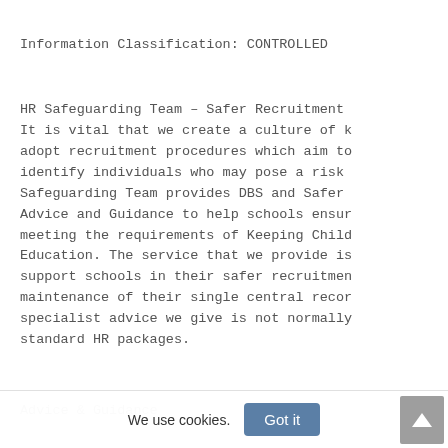Information Classification: CONTROLLED
HR Safeguarding Team – Safer Recruitment It is vital that we create a culture of k adopt recruitment procedures which aim to identify individuals who may pose a risk Safeguarding Team provides DBS and Safer Advice and Guidance to help schools ensur meeting the requirements of Keeping Child Education. The service that we provide is support schools in their safer recruitmen maintenance of their single central recor specialist advice we give is not normally standard HR packages.
Advice & Guidance